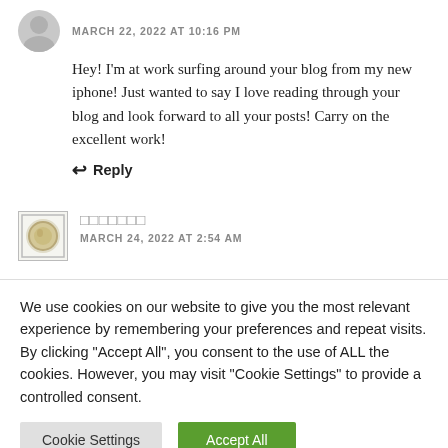MARCH 22, 2022 AT 10:16 PM
Hey! I'm at work surfing around your blog from my new iphone! Just wanted to say I love reading through your blog and look forward to all your posts! Carry on the excellent work!
↩ Reply
□□□□□□□
MARCH 24, 2022 AT 2:54 AM
We use cookies on our website to give you the most relevant experience by remembering your preferences and repeat visits. By clicking "Accept All", you consent to the use of ALL the cookies. However, you may visit "Cookie Settings" to provide a controlled consent.
Cookie Settings
Accept All